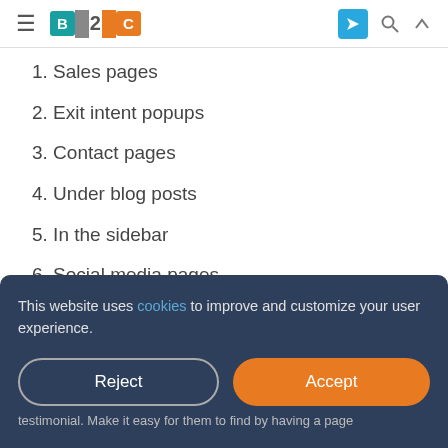B2C (logo with navigation icons)
1. Sales pages
2. Exit intent popups
3. Contact pages
4. Under blog posts
5. In the sidebar
6. Social media pages
7. A testimonial page
This website uses cookies to improve and customize your user experience.
Reject | Accept
testimonial. Make it easy for them to find by having a page with...